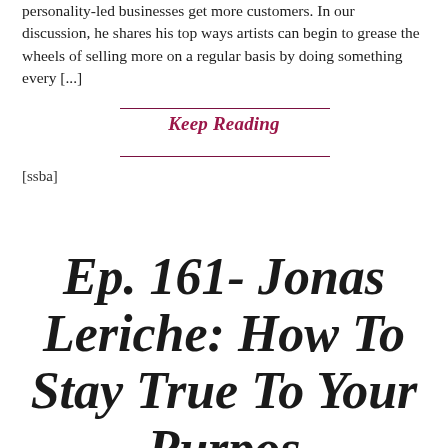personality-led businesses get more customers. In our discussion, he shares his top ways artists can begin to grease the wheels of selling more on a regular basis by doing something every [...]
Keep Reading
[ssba]
Ep. 161- Jonas Leriche: How To Stay True To Your Purpose